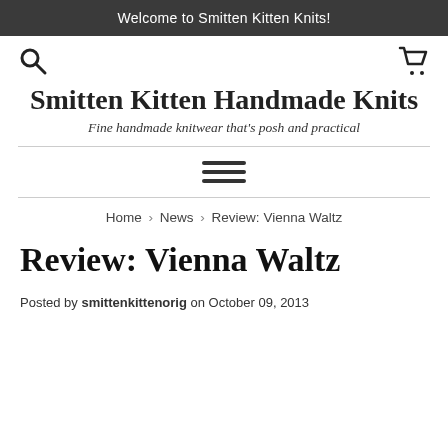Welcome to Smitten Kitten Knits!
[Figure (other): Search icon (magnifying glass) on left and shopping cart icon on right]
Smitten Kitten Handmade Knits
Fine handmade knitwear that's posh and practical
[Figure (other): Hamburger menu icon with three horizontal lines]
Home › News › Review: Vienna Waltz
Review: Vienna Waltz
Posted by smittenkittenorig on October 09, 2013